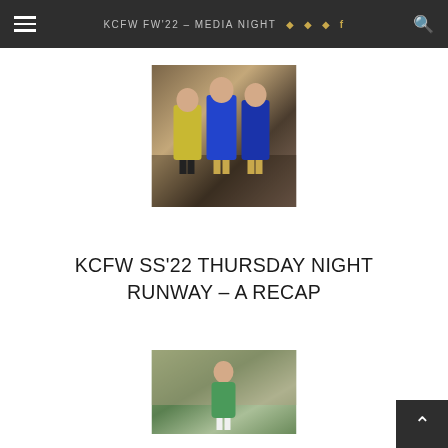KCFW FW'22 – MEDIA NIGHT
[Figure (photo): Three women posing together in colorful outfits (yellow, blue) in front of a stone building]
KCFW SS'22 THURSDAY NIGHT RUNWAY – A RECAP
[Figure (photo): A woman in a green patterned outfit standing in front of a stone building]